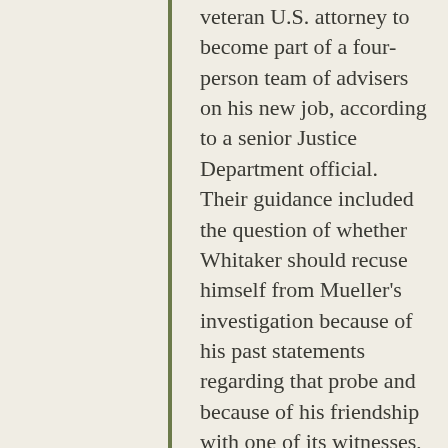veteran U.S. attorney to become part of a four-person team of advisers on his new job, according to a senior Justice Department official. Their guidance included the question of whether Whitaker should recuse himself from Mueller's investigation because of his past statements regarding that probe and because of his friendship with one of its witnesses, the official said.
Whitaker never asked Justice Department ethics officials for a formal recommendation, nor did he receive one, this official said.
However, after Whitaker met repeatedly with Justice Department